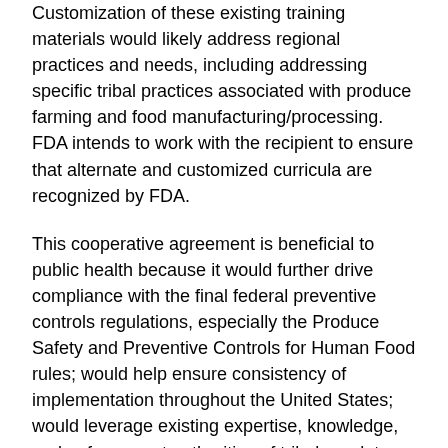Customization of these existing training materials would likely address regional practices and needs, including addressing specific tribal practices associated with produce farming and food manufacturing/processing.  FDA intends to work with the recipient to ensure that alternate and customized curricula are recognized by FDA.
This cooperative agreement is beneficial to public health because it would further drive compliance with the final federal preventive controls regulations, especially the Produce Safety and Preventive Controls for Human Food rules; would help ensure consistency of implementation throughout the United States; would leverage existing expertise, knowledge, and enforcement authorities of tribal regulatory staff; and ultimately reduce foodborne illness.
The program will focus on helping tribal audiences understand and implement Federal food safety...